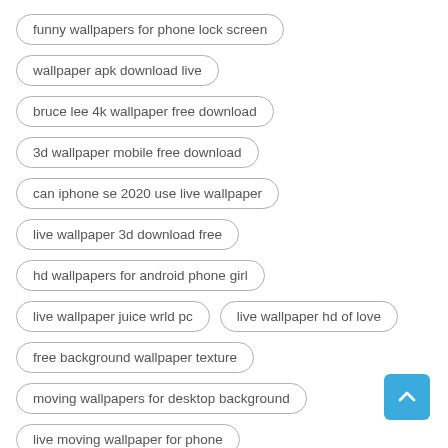funny wallpapers for phone lock screen
wallpaper apk download live
bruce lee 4k wallpaper free download
3d wallpaper mobile free download
can iphone se 2020 use live wallpaper
live wallpaper 3d download free
hd wallpapers for android phone girl
live wallpaper juice wrld pc
live wallpaper hd of love
free background wallpaper texture
moving wallpapers for desktop background
live moving wallpaper for phone